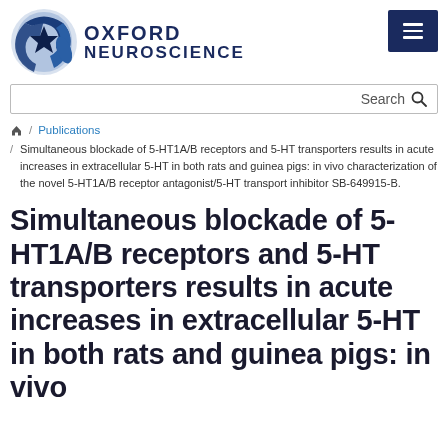[Figure (logo): Oxford Neuroscience logo with circular brain/neuron graphic in blue tones and text 'OXFORD NEUROSCIENCE']
Search
/ Publications / Simultaneous blockade of 5-HT1A/B receptors and 5-HT transporters results in acute increases in extracellular 5-HT in both rats and guinea pigs: in vivo characterization of the novel 5-HT1A/B receptor antagonist/5-HT transport inhibitor SB-649915-B.
Simultaneous blockade of 5-HT1A/B receptors and 5-HT transporters results in acute increases in extracellular 5-HT in both rats and guinea pigs: in vivo